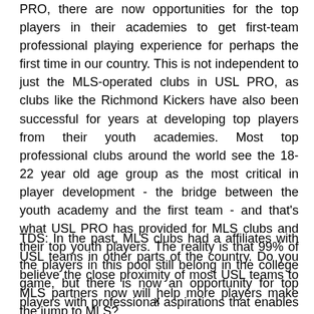PRO, there are now opportunities for the top players in their academies to get first-team professional playing experience for perhaps the first time in our country. This is not independent to just the MLS-operated clubs in USL PRO, as clubs like the Richmond Kickers have also been successful for years at developing top players from their youth academies. Most top professional clubs around the world see the 18-22 year old age group as the most critical in player development - the bridge between the youth academy and the first team - and that's what USL PRO has provided for MLS clubs and their top youth players. The reality is that 99% of the players in this pool still belong in the college game, but there is now an opportunity for top players with professional aspirations that enables us to catch up with the rest of the world.
TDS: In the past, MLS clubs had a affiliates with USL teams in other parts of the country. Do you believe the close proximity of most USL teams to MLS partners now will help more players make the jump to MLS?
x